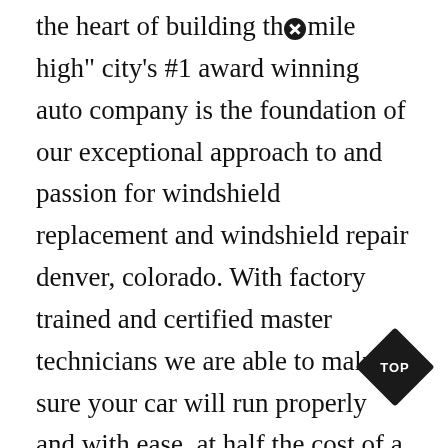the heart of building th×mile high" city's #1 award winning auto company is the foundation of our exceptional approach to and passion for windshield replacement and windshield repair denver, colorado. With factory trained and certified master technicians we are able to make sure your car will run properly and with ease, at half the cost of a dealership. You can even get an auto repair quote from a local service. Custom auto center guarantees the best work for the best price. 7 days a week, our award winning mobile auto glass repair service will come directly to you, at a time that is convenient for you. Need a mobile mechanic for onsite repair or diagnostics near las vegas? We offer a broad range of services including great body work and
[Figure (other): Black diamond-shaped badge with white text reading 'TOP']